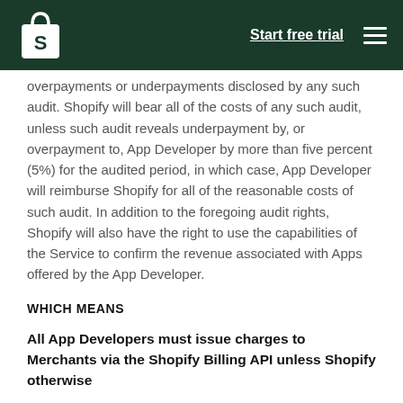Start free trial
overpayments or underpayments disclosed by any such audit. Shopify will bear all of the costs of any such audit, unless such audit reveals underpayment by, or overpayment to, App Developer by more than five percent (5%) for the audited period, in which case, App Developer will reimburse Shopify for all of the reasonable costs of such audit. In addition to the foregoing audit rights, Shopify will also have the right to use the capabilities of the Service to confirm the revenue associated with Apps offered by the App Developer.
WHICH MEANS
All App Developers must issue charges to Merchants via the Shopify Billing API unless Shopify otherwise